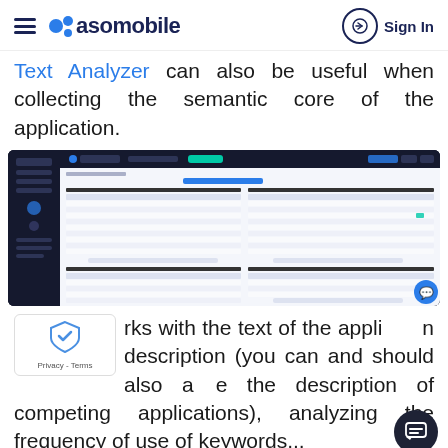asomobile — Sign In
Text Analyzer can also be useful when collecting the semantic core of the application.
[Figure (screenshot): Screenshot of the asomobile Text Analyzer tool showing 'Keywords found in the text' dashboard with tables for one-word, two-word, three-word, and four-word queries with columns for keyword, count, ranks, position, etc.]
works with the text of the application description (you can and should also analyze the description of competing applications), analyzing the frequency of use of keywords...